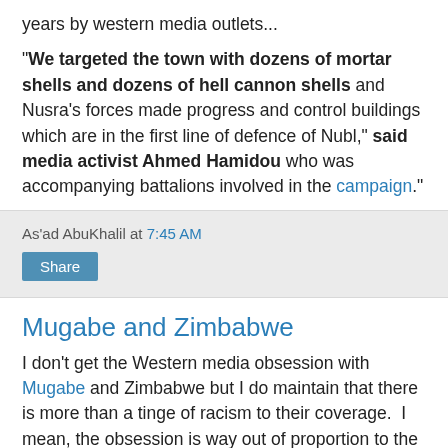years by western media outlets...
"We targeted the town with dozens of mortar shells and dozens of hell cannon shells and Nusra's forces made progress and control buildings which are in the first line of defence of Nubl," said media activist Ahmed Hamidou who was accompanying battalions involved in the campaign."
As'ad AbuKhalil at 7:45 AM
Share
Mugabe and Zimbabwe
I don't get the Western media obsession with Mugabe and Zimbabwe but I do maintain that there is more than a tinge of racism to their coverage.  I mean, the obsession is way out of proportion to the abuses in Zimbabwe. Are Western media trying to convince her that Zimbabwe (where they are